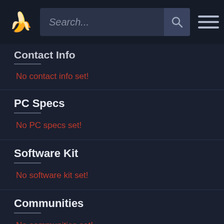Search...
Contact Info
No contact info set!
PC Specs
No PC specs set!
Software Kit
No software kit set!
Communities
No communities set!